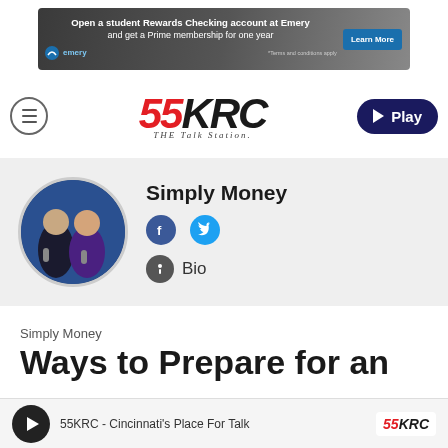[Figure (other): Emery Federal Credit Union advertisement banner: 'Open a student Rewards Checking account at Emery and get a Prime membership for one year' with 'Learn More' button and '*Terms and conditions apply' footnote]
[Figure (logo): 55KRC THE Talk Station logo with red italic 55 and black KRC letters, stylized radio station logo]
[Figure (other): Play button — dark navy rounded rectangle with triangle play icon and text 'Play']
[Figure (photo): Circular profile photo of two radio hosts (man in suit and woman in purple) in a studio setting for Simply Money show]
Simply Money
[Figure (other): Facebook icon circle]
[Figure (other): Twitter/X icon circle]
[Figure (other): Info circle icon with Bio label]
Simply Money
Ways to Prepare for an
[Figure (other): Audio player bar at bottom: play button, '55KRC - Cincinnati's Place For Talk', 55KRC logo]